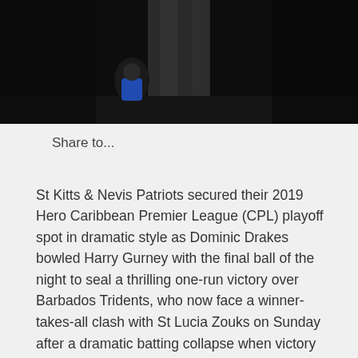[Figure (photo): Dark background photo showing the lower half of a person in dark trousers, with a smaller figure in a blue top visible in the background.]
Share to...
St Kitts & Nevis Patriots secured their 2019 Hero Caribbean Premier League (CPL) playoff spot in dramatic style as Dominic Drakes bowled Harry Gurney with the final ball of the night to seal a thrilling one-run victory over Barbados Tridents, who now face a winner-takes-all clash with St Lucia Zouks on Sunday after a dramatic batting collapse when victory appeared in their grasp.
Superb bowling from Carlos Brathwaite, Sheldon Cottrell and Rayad Emrit on the back of what would prove a crucial 33-ball 53 from Shamarh Brooks all helped set up the dramatic finale and ultimately what had looked for most of the night an unlikely victory. The two points mov...